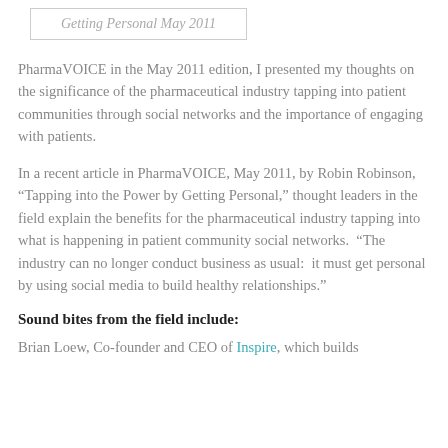Getting Personal May 2011
PharmaVOICE in the May 2011 edition, I presented my thoughts on the significance of the pharmaceutical industry tapping into patient communities through social networks and the importance of engaging with patients.
In a recent article in PharmaVOICE, May 2011, by Robin Robinson, “Tapping into the Power by Getting Personal,” thought leaders in the field explain the benefits for the pharmaceutical industry tapping into what is happening in patient community social networks. “The industry can no longer conduct business as usual: it must get personal by using social media to build healthy relationships.”
Sound bites from the field include:
Brian Loew, Co-founder and CEO of Inspire, which builds